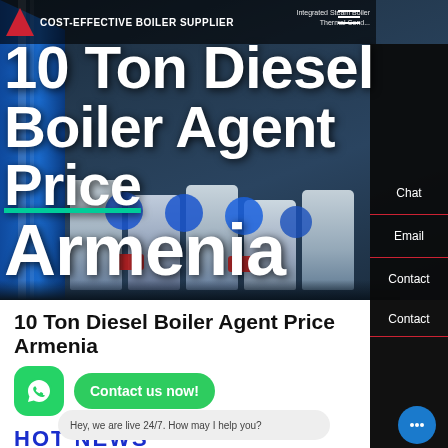[Figure (screenshot): Website header hero image showing industrial diesel boilers/steam boilers in a dark blue facility background with white bold title text overlaid. Navigation bar at top with logo and hamburger menu. Right sidebar with Chat, Email, Contact items.]
10 Ton Diesel Boiler Agent Price Armenia
HOT NEWS
Hey, we are live 24/7. How may I help you?